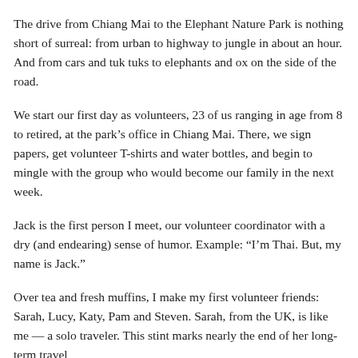The drive from Chiang Mai to the Elephant Nature Park is nothing short of surreal: from urban to highway to jungle in about an hour. And from cars and tuk tuks to elephants and ox on the side of the road.
We start our first day as volunteers, 23 of us ranging in age from 8 to retired, at the park’s office in Chiang Mai. There, we sign papers, get volunteer T-shirts and water bottles, and begin to mingle with the group who would become our family in the next week.
Jack is the first person I meet, our volunteer coordinator with a dry (and endearing) sense of humor. Example: “I’m Thai. But, my name is Jack.”
Over tea and fresh muffins, I make my first volunteer friends: Sarah, Lucy, Katy, Pam and Steven. Sarah, from the UK, is like me — a solo traveler. This stint marks nearly the end of her long-term travel